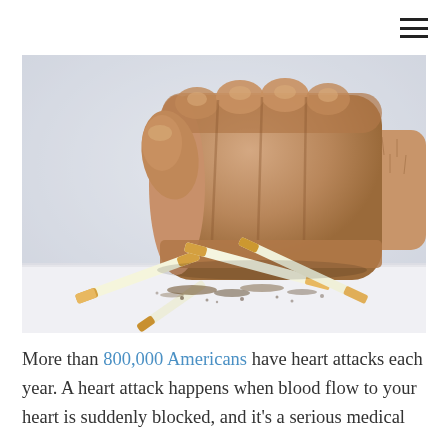[Figure (photo): A clenched human fist crushing several cigarettes on a white surface, symbolizing quitting smoking.]
More than 800,000 Americans have heart attacks each year. A heart attack happens when blood flow to your heart is suddenly blocked, and it's a serious medical